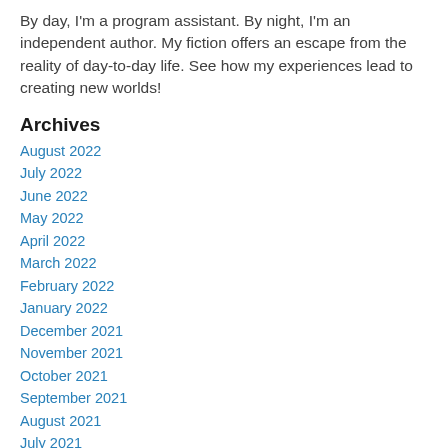By day, I'm a program assistant. By night, I'm an independent author. My fiction offers an escape from the reality of day-to-day life. See how my experiences lead to creating new worlds!
Archives
August 2022
July 2022
June 2022
May 2022
April 2022
March 2022
February 2022
January 2022
December 2021
November 2021
October 2021
September 2021
August 2021
July 2021
June 2021